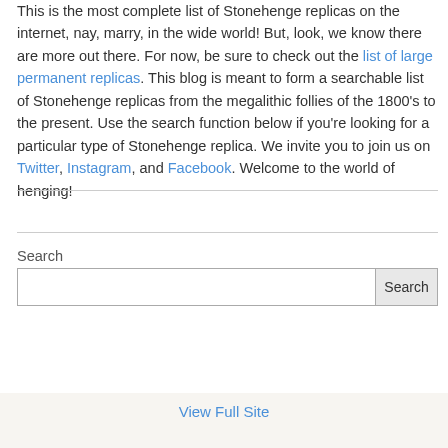This is the most complete list of Stonehenge replicas on the internet, nay, marry, in the wide world! But, look, we know there are more out there. For now, be sure to check out the list of large permanent replicas. This blog is meant to form a searchable list of Stonehenge replicas from the megalithic follies of the 1800's to the present. Use the search function below if you're looking for a particular type of Stonehenge replica. We invite you to join us on Twitter, Instagram, and Facebook. Welcome to the world of henging!
Search
View Full Site